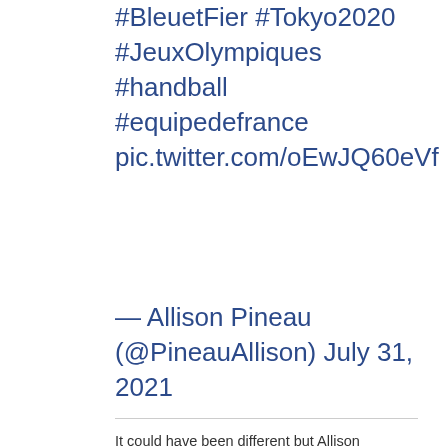#BleuetFier #Tokyo2020 #JeuxOlympiques #handball #equipedefrance pic.twitter.com/oEwJQ60eVf
— Allison Pineau (@PineauAllison) July 31, 2021
It could have been different but Allison Pineau's last ditch effort seconds before the end of the match against Russia did not hit the back of the net.  As a result the runner-up at EURO 2020 found